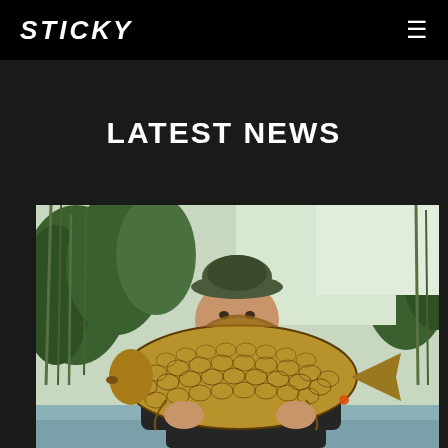STICKY
LATEST NEWS
[Figure (photo): A smiling fisherman holding a large common carp fish with both hands. Green reeds and a lake are visible in the background. A left navigation arrow is overlaid on the left side of the image, and an expand icon is at the bottom right.]